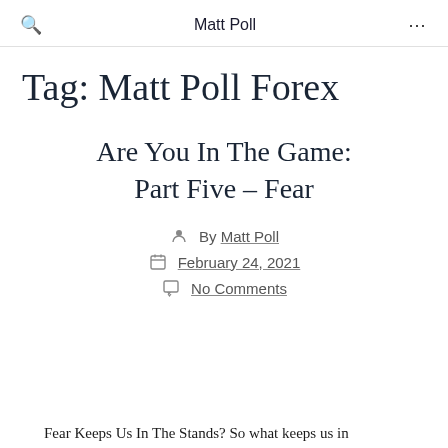Matt Poll
Tag: Matt Poll Forex
Are You In The Game: Part Five – Fear
By Matt Poll
February 24, 2021
No Comments
Fear Keeps Us In The Stands? So what keeps us in